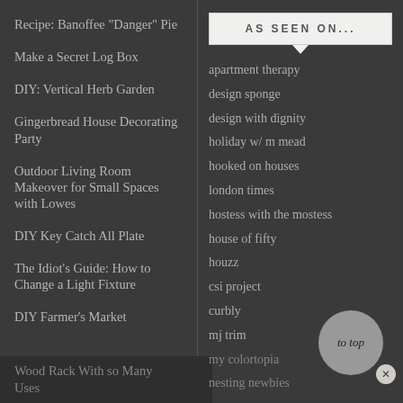Recipe: Banoffee "Danger" Pie
Make a Secret Log Box
DIY: Vertical Herb Garden
Gingerbread House Decorating Party
Outdoor Living Room Makeover for Small Spaces with Lowes
DIY Key Catch All Plate
The Idiot's Guide: How to Change a Light Fixture
DIY Farmer's Market Wood Rack With so Many Uses
AS SEEN ON...
apartment therapy
design sponge
design with dignity
holiday w/ m mead
hooked on houses
london times
hostess with the mostess
house of fifty
houzz
csi project
curbly
mj trim
my colortopia
nesting newbies